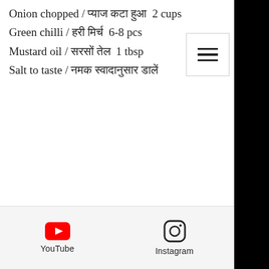Onion chopped / प्याज कटा हुआ  2 cups
Green chilli / हरी मिर्च  6-8 pcs
Mustard oil / सरसों तेल  1 tbsp
Salt to taste / नमक स्वादानुसार डालें
[Figure (logo): YouTube logo icon (red play button) with label 'YouTube' below]
[Figure (logo): Instagram logo icon (camera outline) with label 'Instagram' below]